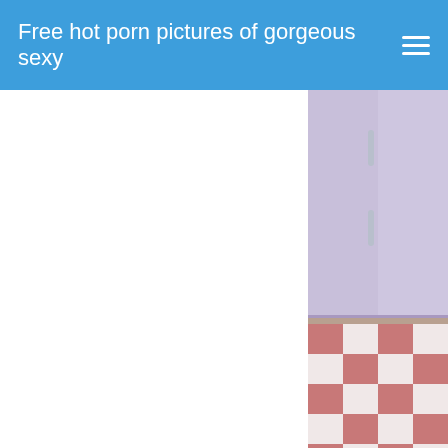Free hot porn pictures of gorgeous sexy
[Figure (photo): Partial view of a person near kitchen cabinets with a checkered floor]
caucasion asian gay p terrence sexy wive treesome porn por porn vids fat d
Permalink We Are H
[Figure (photo): Partial view of a woman with dark curly hair]